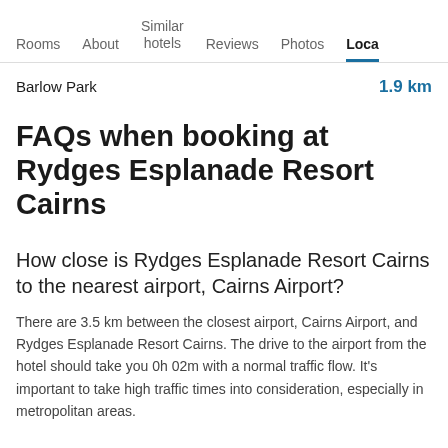Rooms  About  Similar hotels  Reviews  Photos  Loca
Barlow Park   1.9 km
FAQs when booking at Rydges Esplanade Resort Cairns
How close is Rydges Esplanade Resort Cairns to the nearest airport, Cairns Airport?
There are 3.5 km between the closest airport, Cairns Airport, and Rydges Esplanade Resort Cairns. The drive to the airport from the hotel should take you 0h 02m with a normal traffic flow. It's important to take high traffic times into consideration, especially in metropolitan areas.